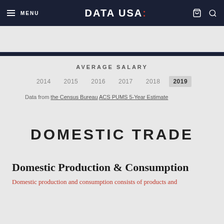MENU | DATA USA: | (cart) (search)
[Figure (screenshot): Navigation icon bar with 8 category icons on dark navy background]
AVERAGE SALARY
2014  2015  2016  2017  2018  2019
Data from the Census Bureau ACS PUMS 5-Year Estimate
DOMESTIC TRADE
Domestic Production & Consumption
Domestic production and consumption consists of products and